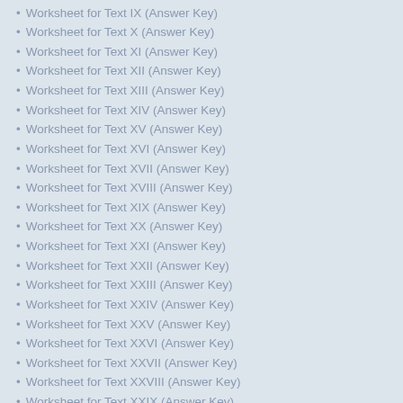Worksheet for Text IX (Answer Key)
Worksheet for Text X (Answer Key)
Worksheet for Text XI (Answer Key)
Worksheet for Text XII (Answer Key)
Worksheet for Text XIII (Answer Key)
Worksheet for Text XIV (Answer Key)
Worksheet for Text XV (Answer Key)
Worksheet for Text XVI (Answer Key)
Worksheet for Text XVII (Answer Key)
Worksheet for Text XVIII (Answer Key)
Worksheet for Text XIX (Answer Key)
Worksheet for Text XX (Answer Key)
Worksheet for Text XXI (Answer Key)
Worksheet for Text XXII (Answer Key)
Worksheet for Text XXIII (Answer Key)
Worksheet for Text XXIV (Answer Key)
Worksheet for Text XXV (Answer Key)
Worksheet for Text XXVI (Answer Key)
Worksheet for Text XXVII (Answer Key)
Worksheet for Text XXVIII (Answer Key)
Worksheet for Text XXIX (Answer Key)
Worksheet for Text XXXI (Answer Key)
Worksheet for Text XXXII (Answer Key)
Worksheet for Text XXXIII (Answer Key)
Worksheet for Text XXXIV (Answer Key)